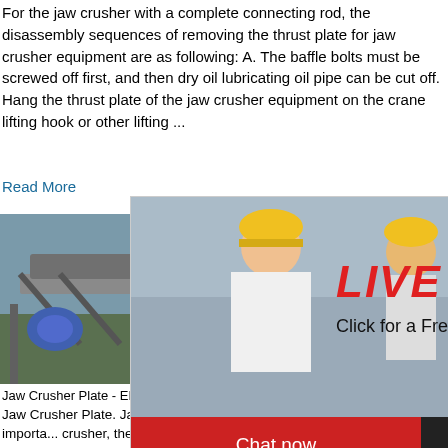For the jaw crusher with a complete connecting rod, the disassembly sequences of removing the thrust plate for jaw crusher equipment are as following: A. The baffle bolts must be screwed off first, and then dry oil lubricating oil pipe can be cut off. Hang the thrust plate of the jaw crusher equipment on the crane lifting hook or other lifting ...
Read More
[Figure (photo): Photo of jaw crusher machine equipment on a construction/mining site]
[Figure (screenshot): Live chat popup overlay showing workers in yellow hard hats, with LIVE CHAT text in red italic, subtitle 'Click for a Free Consultation', and two buttons: 'Chat now' (red) and 'Chat later' (black)]
[Figure (photo): Right panel showing a cone crusher machine image on blue background with 'hour online' text, 'Click me to chat>>' button, 'Enquiry' section, and 'limingjlmofen' text]
Jaw Crusher Plate - EB Castworld
Jaw Crusher Plate. Jaw Plate As an importa... crusher, the jaw plate is very popular in the... users are faced with the trouble of the shor...te of the jaw crusher and do not know what to...ny reasons for the short service life of the jaw ...s